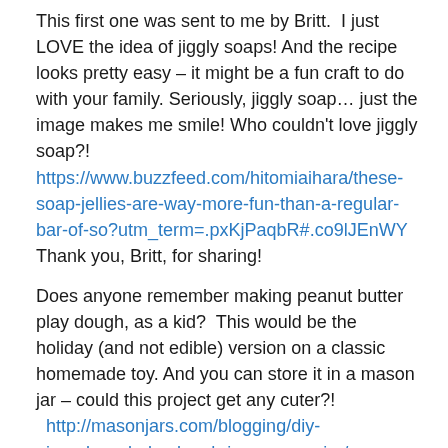This first one was sent to me by Britt.  I just LOVE the idea of jiggly soaps! And the recipe looks pretty easy – it might be a fun craft to do with your family. Seriously, jiggly soap… just the image makes me smile! Who couldn't love jiggly soap?! https://www.buzzfeed.com/hitomiaihara/these-soap-jellies-are-way-more-fun-than-a-regular-bar-of-so?utm_term=.pxKjPaqbR#.co9lJEnWY Thank you, Britt, for sharing!
Does anyone remember making peanut butter play dough, as a kid?  This would be the holiday (and not edible) version on a classic homemade toy. And you can store it in a mason jar – could this project get any cuter?! http://masonjars.com/blogging/diy-gingerbread-playdough-in-a-mason-jar/